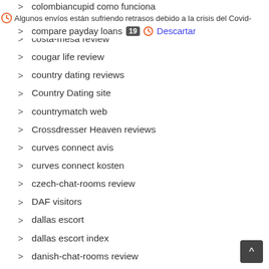colombiancupid como funciona
Algunos envíos están sufriendo retrasos debido a la crisis del Covid-
compare payday loans  19  Descartar
costa-mesa review
cougar life review
country dating reviews
Country Dating site
countrymatch web
Crossdresser Heaven reviews
curves connect avis
curves connect kosten
czech-chat-rooms review
DAF visitors
dallas escort
dallas escort index
danish-chat-rooms review